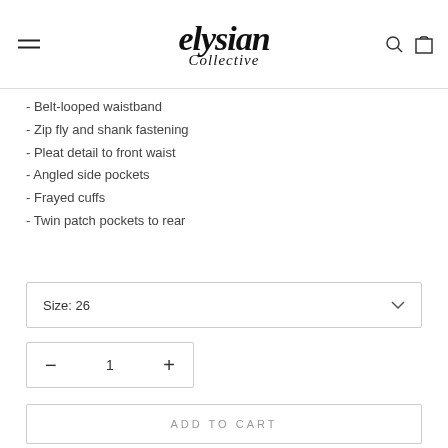elysian Collective
- Belt-looped waistband
- Zip fly and shank fastening
- Pleat detail to front waist
- Angled side pockets
- Frayed cuffs
- Twin patch pockets to rear
Size: 26
1
ADD TO CART